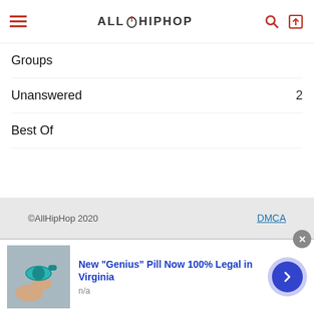AllHipHop
Groups
Unanswered  2
Best Of
©AllHipHop 2020   DMCA
[Figure (screenshot): Advertisement banner: photo of a pill/supplement, text 'New "Genius" Pill Now 100% Legal in Virginia', subtext 'n/a']